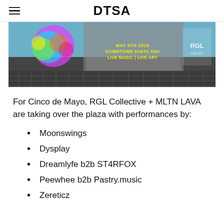DTSA
[Figure (photo): Banner image for Cinco de Mayo event at Downtown Santa Ana, May 5th 2018, with colorful graffiti mural, cobblestone ground, text reading MAY 5TH 2018 / DOWNTOWN SANTA ANA / LIVE MUSIC | LIVE ART, and RGL Collective logo.]
For Cinco de Mayo, RGL Collective + MLTN LAVA are taking over the plaza with performances by:
Moonswings
Dysplay
Dreamlyfe b2b ST4RFOX
Peewhee b2b Pastry.music
Zereticz